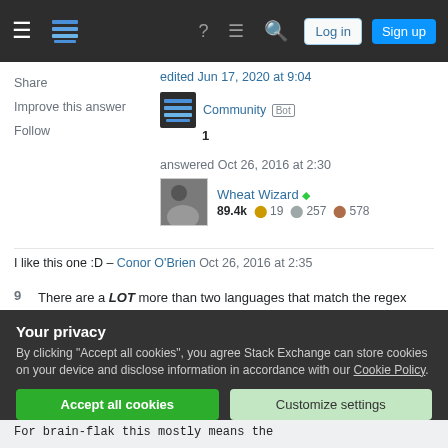Stack Exchange navigation bar with hamburger menu, logo, help icon, chat icon, search icon, Log in button, Sign up button
Share
Improve this answer
Follow
edited Jun 17, 2020 at 9:04
Community Bot 1
answered Oct 26, 2016 at 2:30
Wheat Wizard ◆ 89.4k 🟡 19 ⬜ 257 🟠 578
I like this one :D – Conor O'Brien Oct 26, 2016 at 2:35
9  There are a LOT more than two languages that match the regex /brainf..k/, so you should use the same header format as everyone else. – mbomb007
Your privacy
By clicking "Accept all cookies", you agree Stack Exchange can store cookies on your device and disclose information in accordance with our Cookie Policy.
Accept all cookies  Customize settings
For brain-flak this mostly means the